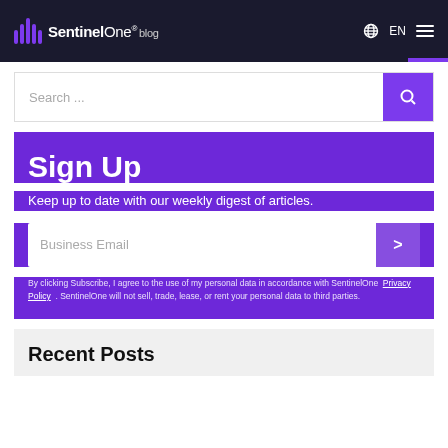SentinelOne blog | EN
Search ...
Sign Up
Keep up to date with our weekly digest of articles.
Business Email
By clicking Subscribe, I agree to the use of my personal data in accordance with SentinelOne Privacy Policy . SentinelOne will not sell, trade, lease, or rent your personal data to third parties.
Recent Posts